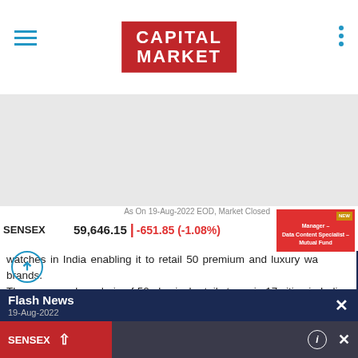[Figure (logo): Capital Market logo - red background with white bold text reading CAPITAL MARKET]
[Figure (other): Gray advertisement/banner area]
As On 19-Aug-2022 EOD, Market Closed
SENSEX  59,646.15  | -651.85 (-1.08%)
[Figure (other): Job badge: Manager - Data Content Specialist - Mutual Fund with NEW tag]
watches in India enabling it to retail 50 premium and luxury watch brands.
The company has chain of 50 physical retail stores in 17 cities in India, a multi store format. Stores are categorized into 14 Ethos Summit Stores and one Airport store that houses bridge to luxury, luxury, and high luxury brands, 14 multi-brand outlets and 10 Ethos Boutiques both housing bridge to luxury and premium brands, 10 luxury segment mono-boutiques offering a single luxury watch brand and 1 certified pre-
Flash News
19-Aug-2022
SENSEX